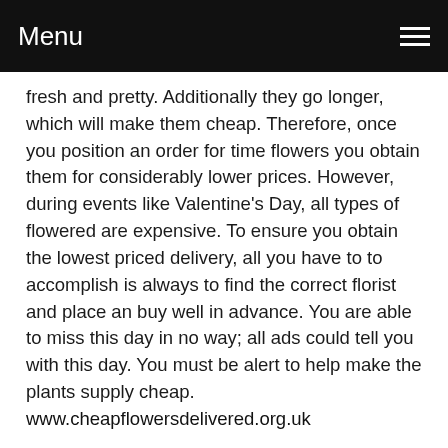Menu
fresh and pretty. Additionally they go longer, which will make them cheap. Therefore, once you position an order for time flowers you obtain them for considerably lower prices. However, during events like Valentine's Day, all types of flowered are expensive. To ensure you obtain the lowest priced delivery, all you have to to accomplish is always to find the correct florist and place an buy well in advance. You are able to miss this day in no way; all ads could tell you with this day. You must be alert to help make the plants supply cheap. www.cheapflowersdelivered.org.uk
Online ordering for flowers are the simplest way to make things easy. If you should be not careful you will